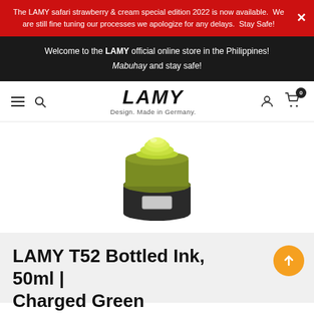The LAMY safari strawberry & cream special edition 2022 is now available. We are still fine tuning our processes we apologize for any delays. Stay Safe!
Welcome to the LAMY official online store in the Philippines!
Mabuhay and stay safe!
[Figure (logo): LAMY logo with text 'Design. Made in Germany.' and navigation icons (hamburger menu, search, account, cart with 0 badge)]
[Figure (photo): LAMY T52 Bottled Ink 50ml in Charged Green — a circular ink bottle with a bright yellow-green cap on a dark base with a silver label]
LAMY T52 Bottled Ink, 50ml | Charged Green